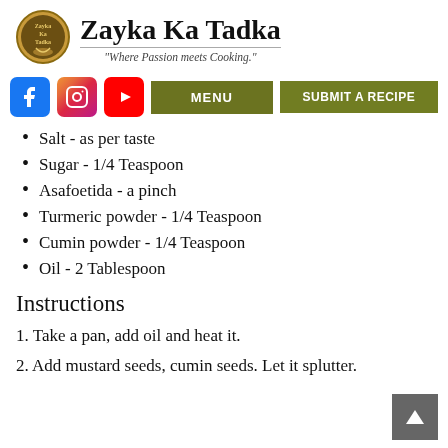Zayka Ka Tadka — "Where Passion meets Cooking."
[Figure (logo): Zayka Ka Tadka circular logo with spoon and text]
Salt - as per taste
Sugar - 1/4 Teaspoon
Asafoetida - a pinch
Turmeric powder - 1/4 Teaspoon
Cumin powder - 1/4 Teaspoon
Oil - 2 Tablespoon
Instructions
1. Take a pan, add oil and heat it.
2. Add mustard seeds, cumin seeds. Let it splutter.